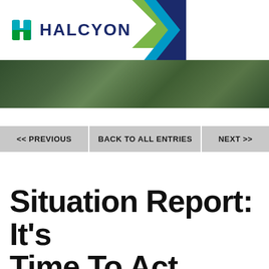[Figure (logo): Halcyon company logo with teal/green H icon and dark blue HALCYON wordmark, on white background with navy blue right panel containing search and hamburger menu icons, and colorful chevron arrow graphic]
[Figure (photo): Hero image strip showing green forest/tree foliage]
<< PREVIOUS | BACK TO ALL ENTRIES | NEXT >>
Situation Report: It's Time To Act